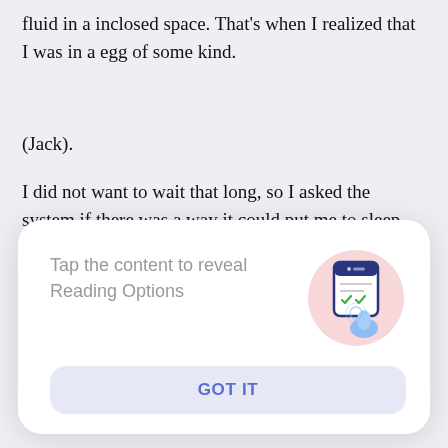fluid in a inclosed space. That's when I realized that I was in a egg of some kind.
(Jack).
I did not want to wait that long, so I asked the system if there was a way it could put me to sleep till I waked up. The system is instantly with a yes and my vision went dark.
F
[Figure (screenshot): A tooltip/overlay card with text 'Tap the content to reveal Reading Options', a phone tap illustration on the right, and a 'GOT IT' button at the bottom.]